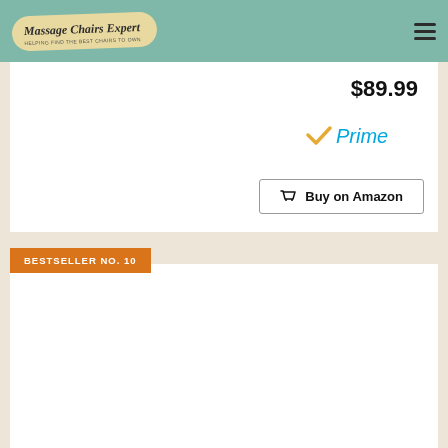Massage Chairs Expert
$89.99
[Figure (logo): Amazon Prime badge with orange checkmark and blue italic Prime text]
Buy on Amazon
BESTSELLER NO. 10
Glass Essential Oil Diffuser Ultrasonic Cool Mist Humidifier with 7 Color Lights...